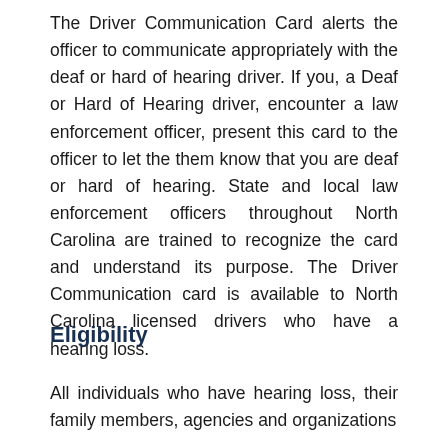The Driver Communication Card alerts the officer to communicate appropriately with the deaf or hard of hearing driver. If you, a Deaf or Hard of Hearing driver, encounter a law enforcement officer, present this card to the officer to let the them know that you are deaf or hard of hearing. State and local law enforcement officers throughout North Carolina are trained to recognize the card and understand its purpose. The Driver Communication card is available to North Carolina licensed drivers who have a hearing loss.
Eligibility
All individuals who have hearing loss, their family members, agencies and organizations